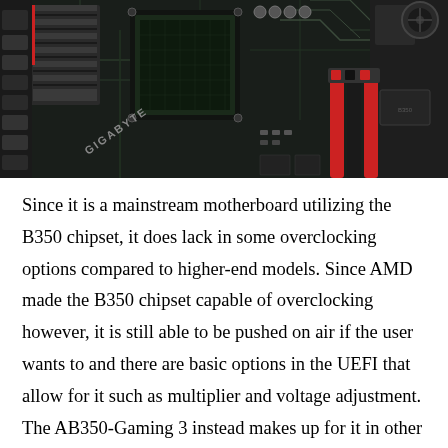[Figure (photo): Close-up photo of a Gigabyte motherboard (B350/AB350-Gaming 3 series) showing PCB with components, red and black color scheme, CPU socket area, capacitors, heatsinks, power connectors, and the GIGABYTE branding visible on the board.]
Since it is a mainstream motherboard utilizing the B350 chipset, it does lack in some overclocking options compared to higher-end models. Since AMD made the B350 chipset capable of overclocking however, it is still able to be pushed on air if the user wants to and there are basic options in the UEFI that allow for it such as multiplier and voltage adjustment. The AB350-Gaming 3 instead makes up for it in other features, more focused on providing for a gamer's lifestyle. Equipped with a Realtek